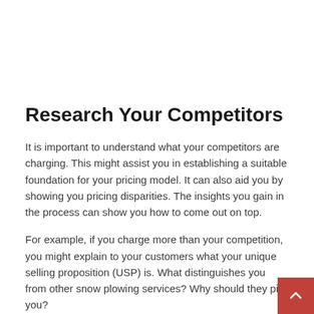Research Your Competitors
It is important to understand what your competitors are charging. This might assist you in establishing a suitable foundation for your pricing model. It can also aid you by showing you pricing disparities. The insights you gain in the process can show you how to come out on top.
For example, if you charge more than your competition, you might explain to your customers what your unique selling proposition (USP) is. What distinguishes you from other snow plowing services? Why should they pick you?
On the other hand, if you notice that you are not charging enough, you can consider raising your prices to compete with other businesses in your area.